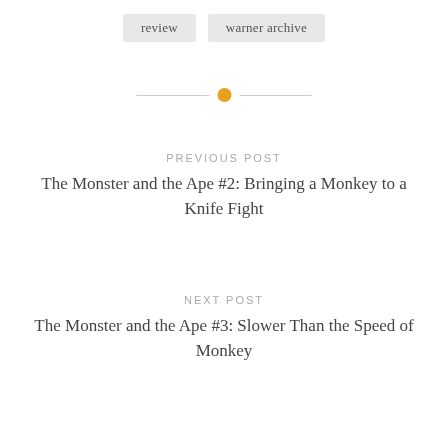review
warner archive
PREVIOUS POST
The Monster and the Ape #2: Bringing a Monkey to a Knife Fight
NEXT POST
The Monster and the Ape #3: Slower Than the Speed of Monkey